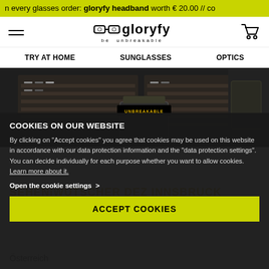n every glasses order: gloryfy headband worth € 20.00 // co
[Figure (logo): Gloryfy logo with glasses icon and 'be unbreakable' tagline]
TRY AT HOME  SUNGLASSES  OPTICS
[Figure (photo): Interior of gloryfy optical store showing glasses displays and showcases with 'UNBREAKABLE' signage]
COOKIES ON OUR WEBSITE
By clicking on "Accept cookies" you agree that cookies may be used on this website in accordance with our data protection information and the "data protection settings". You can decide individually for each purpose whether you want to allow cookies. Learn more about it.
Open the cookie settings >
ACCEPT COOKIES
SEHENIWUTSCHER DEZ INNSBRUCK
Annaer Ger Stra Be 55a
Österreich